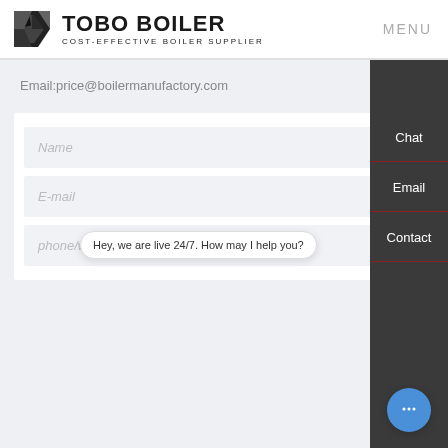[Figure (logo): Tobo Boiler logo with geometric icon and text 'TOBO BOILER COST-EFFECTIVE BOILER SUPPLIER']
MENU
Email:price@boilermanufactory.com
Name
E-mail
phone/wha
Hey, we are live 24/7. How may I help you?
Chat
Email
Contact